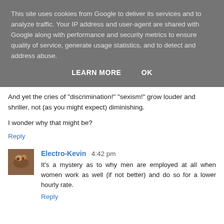This site uses cookies from Google to deliver its services and to analyze traffic. Your IP address and user-agent are shared with Google along with performance and security metrics to ensure quality of service, generate usage statistics, and to detect and address abuse.
LEARN MORE    OK
And yet the cries of "discrimination!" "sexism!" grow louder and shriller, not (as you might expect) diminishing.
I wonder why that might be?
Reply
Electro-Kevin  4:42 pm
It's a mystery as to why men are employed at all when women work as well (if not better) and do so for a lower hourly rate.
Reply